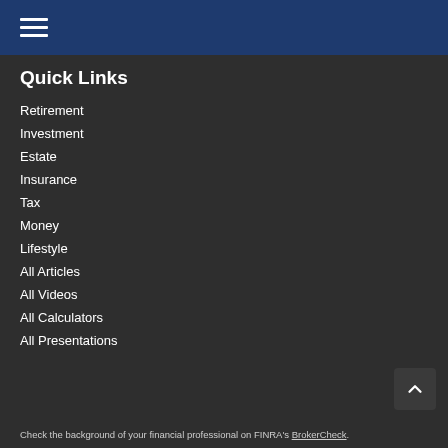Navigation menu (hamburger icon)
Quick Links
Retirement
Investment
Estate
Insurance
Tax
Money
Lifestyle
All Articles
All Videos
All Calculators
All Presentations
Check the background of your financial professional on FINRA's BrokerCheck.